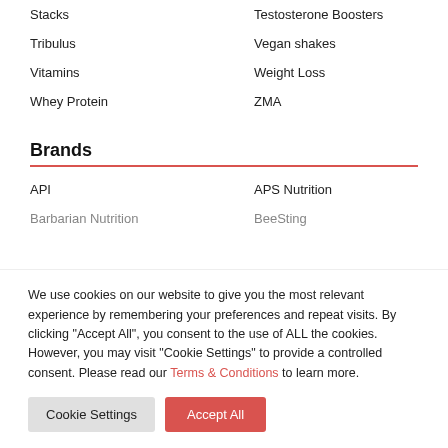Stacks
Testosterone Boosters
Tribulus
Vegan shakes
Vitamins
Weight Loss
Whey Protein
ZMA
Brands
API
APS Nutrition
Barbarian Nutrition
BeeSting
We use cookies on our website to give you the most relevant experience by remembering your preferences and repeat visits. By clicking “Accept All”, you consent to the use of ALL the cookies. However, you may visit “Cookie Settings” to provide a controlled consent. Please read our Terms & Conditions to learn more.
Cookie Settings | Accept All